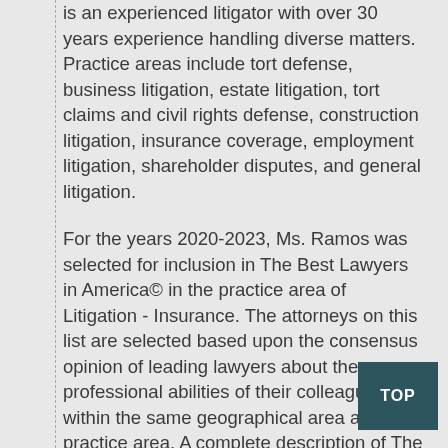is an experienced litigator with over 30 years experience handling diverse matters. Practice areas include tort defense, business litigation, estate litigation, tort claims and civil rights defense, construction litigation, insurance coverage, employment litigation, shareholder disputes, and general litigation.
For the years 2020-2023, Ms. Ramos was selected for inclusion in The Best Lawyers in America© in the practice area of Litigation - Insurance. The attorneys on this list are selected based upon the consensus opinion of leading lawyers about the professional abilities of their colleagues within the same geographical area and legal practice area. A complete description of The Best Lawyers in America© methodology can be viewed via their website at: https://www.bestlawyers.com/methodology.